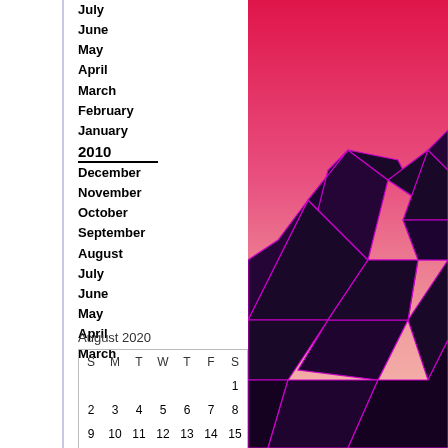July
June
May
April
March
February
January
2010
December
November
October
September
August
July
June
May
April
March
| S | M | T | W | T | F | S |
| --- | --- | --- | --- | --- | --- | --- |
|  |  |  |  |  |  | 1 |
| 2 | 3 | 4 | 5 | 6 | 7 | 8 |
| 9 | 10 | 11 | 12 | 13 | 14 | 15 |
| 16 | 17 | 18 | 19 | 20 | 21 | 22 |
| 23 | 24 | 25 | 26 | 27 | 28 | 29 |
| 30 | 31 |  |  |  |  |  |
[Figure (illustration): Low-poly geometric mountain landscape with purple/magenta triangular facets against a pink-to-red gradient sky background.]